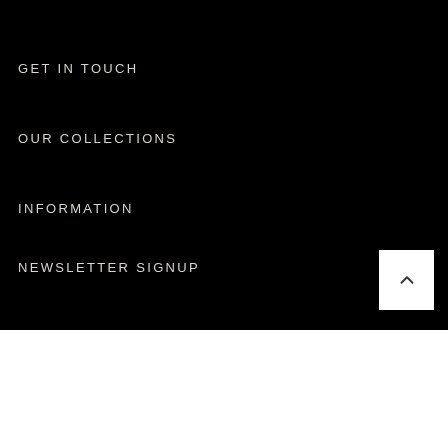GET IN TOUCH
OUR COLLECTIONS
INFORMATION
NEWSLETTER SIGNUP
35 / Beige
- 1 +
ADD TO CART